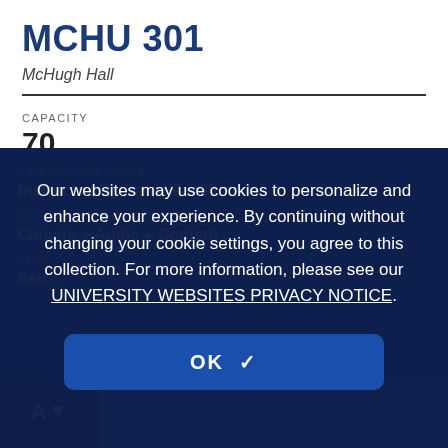MCHU 301
McHugh Hall
CAPACITY
70
VIDEO CONFERENCE
Instructor Operated/Facilitated
WEBEX OR TEAMS OR ZOOM
Camera + Audio + Content
LECTURE CAPTURE
Self-Service
Our websites may use cookies to personalize and enhance your experience. By continuing without changing your cookie settings, you agree to this collection. For more information, please see our UNIVERSITY WEBSITES PRIVACY NOTICE.
OK ✓